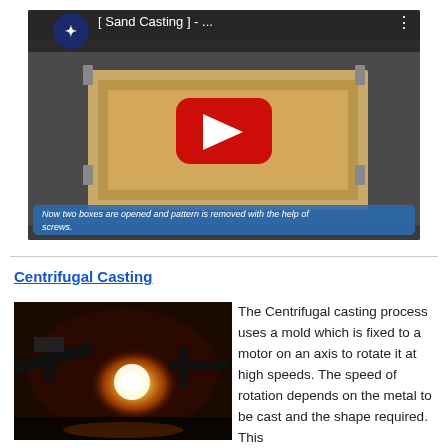[Figure (screenshot): YouTube video thumbnail showing a sand casting process animation. Title reads '[ Sand Casting ] - ...' with a channel logo. A red play button is centered over an image of a wooden sand casting box. At the bottom is a blue caption bar reading 'Now two boxes are opened and pattern is removed with the help of screws.']
Centrifugal Casting
[Figure (photo): Photo of centrifugal casting process showing molten metal being poured into a rotating mold with a bright glowing light source visible inside an industrial furnace or casting machine.]
The Centrifugal casting process uses a mold which is fixed to a motor on an axis to rotate it at high speeds. The speed of rotation depends on the metal to be cast and the shape required. This